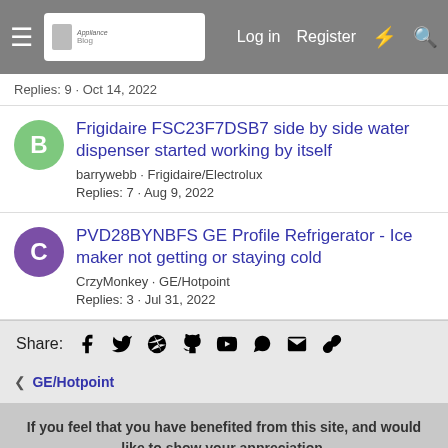Log in  Register
Replies: 9 · Oct 14, 2022
Frigidaire FSC23F7DSB7 side by side water dispenser started working by itself
barrywebb · Frigidaire/Electrolux
Replies: 7 · Aug 9, 2022
PVD28BYNBFS GE Profile Refrigerator - Ice maker not getting or staying cold
CrzyMonkey · GE/Hotpoint
Replies: 3 · Jul 31, 2022
Share: (social icons)
< GE/Hotpoint
If you feel that you have benefited from this site, and would like to show your appreciation.
Donate